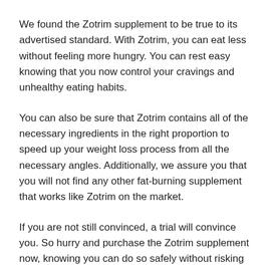We found the Zotrim supplement to be true to its advertised standard. With Zotrim, you can eat less without feeling more hungry. You can rest easy knowing that you now control your cravings and unhealthy eating habits.
You can also be sure that Zotrim contains all of the necessary ingredients in the right proportion to speed up your weight loss process from all the necessary angles. Additionally, we assure you that you will not find any other fat-burning supplement that works like Zotrim on the market.
If you are not still convinced, a trial will convince you. So hurry and purchase the Zotrim supplement now, knowing you can do so safely without risking your money. All it takes is a few clicks.